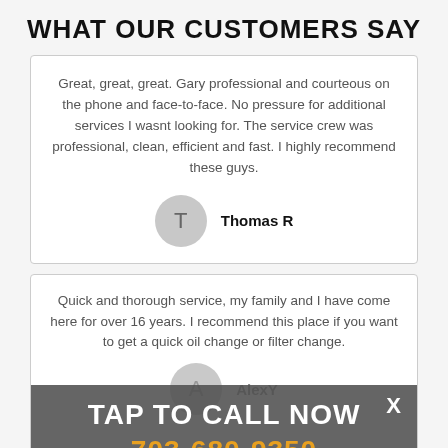WHAT OUR CUSTOMERS SAY
Great, great, great. Gary professional and courteous on the phone and face-to-face. No pressure for additional services I wasnt looking for. The service crew was professional, clean, efficient and fast. I highly recommend these guys.
Thomas R
Quick and thorough service, my family and I have come here for over 16 years. I recommend this place if you want to get a quick oil change or filter change.
TAP TO CALL NOW
703-680-9350
AlexY